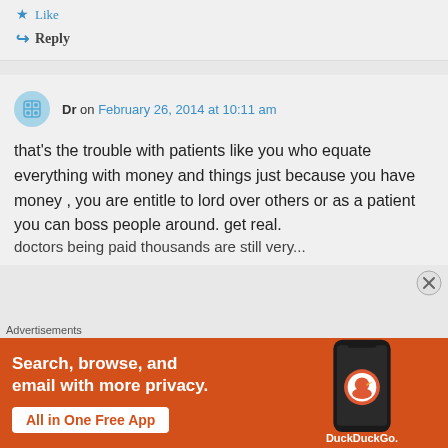Like
Reply
Dr on February 26, 2014 at 10:11 am
that’s the trouble with patients like you who equate everything with money and things just because you have money , you are entitle to lord over others or as a patient you can boss people around. get real.
doctors being paid thousands are still very...
Advertisements
[Figure (screenshot): DuckDuckGo advertisement banner: orange background with text 'Search, browse, and email with more privacy. All in One Free App' and a phone mockup with DuckDuckGo logo]